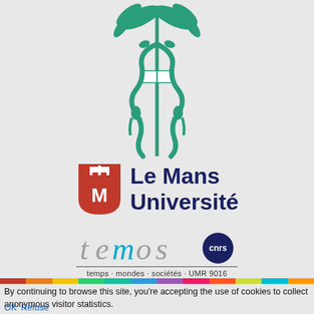[Figure (logo): Medical caduceus / staff with serpents and an open book, rendered in teal/green, university emblem]
[Figure (logo): Le Mans Université logo: red/orange shield with crown and M, next to bold dark blue text 'Le Mans Université']
[Figure (logo): TEMOS CNRS logo: stylized italic 'temos' text in grey/blue with CNRS dark blue circle badge, subtitle 'temps · mondes · sociétés · UMR 9016']
By continuing to browse this site, you're accepting the use of cookies to collect anonymous visitor statistics.
OK Refuse